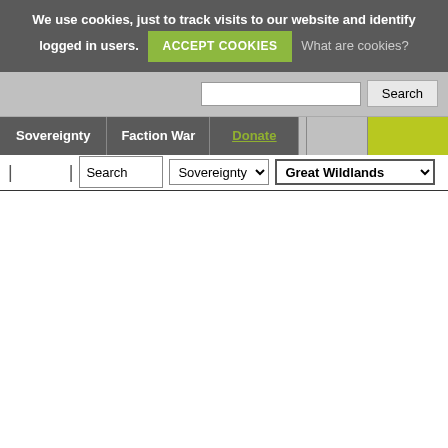We use cookies, just to track visits to our website and identify logged in users. ACCEPT COOKIES What are cookies?
[Figure (screenshot): Search bar with text input and Search button on grey background]
Sovereignty | Faction War | Donate
| | Search Sovereignty Great Wildlands